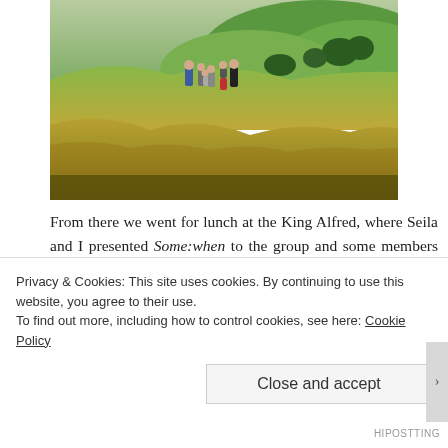[Figure (photo): Group of people walking across a grassy hillside with rolling green hills and trees in the background]
From there we went for lunch at the King Alfred, where Seila and I presented Some:when to the group and some members of the local FLAG group, and discussed possibilities for longer-term collaborations to continue the work Some:when has begun. After a lovely and lively meal we
Privacy & Cookies: This site uses cookies. By continuing to use this website, you agree to their use.
To find out more, including how to control cookies, see here: Cookie Policy
Close and accept